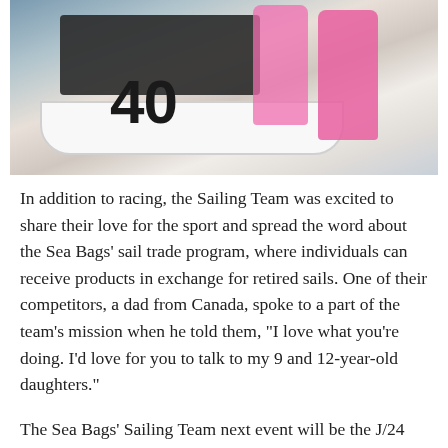[Figure (photo): Photo of sailing team members in pink shirts standing near a sailboat marked with number 40 on a dock]
In addition to racing, the Sailing Team was excited to share their love for the sport and spread the word about the Sea Bags' sail trade program, where individuals can receive products in exchange for retired sails. One of their competitors, a dad from Canada, spoke to a part of the team's mission when he told them, "I love what you're doing. I'd love for you to talk to my 9 and 12-year-old daughters."
The Sea Bags' Sailing Team next event will be the J/24 East Coast Championship in Annapolis, Maryland from October 27-28. Be sure to like them on Facebook and Instagram to follow along on their journey.